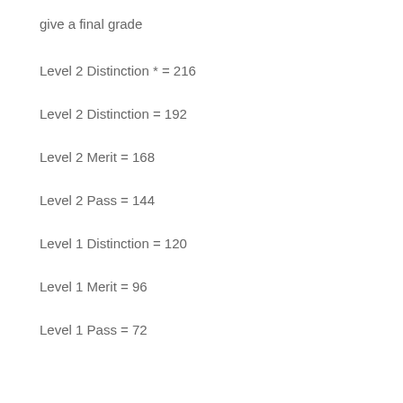give a final grade
Level 2 Distinction * = 216
Level 2 Distinction = 192
Level 2 Merit = 168
Level 2 Pass = 144
Level 1 Distinction = 120
Level 1 Merit = 96
Level 1 Pass = 72